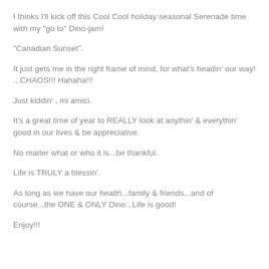I thinks I'll kick off this Cool Cool holiday seasonal Serenade time with my "go to" Dino-jam!
"Canadian Sunset".
It just gets me in the right frame of mind, for what's headin' our way! ...CHAOS!!! Hahaha!!!
Just kiddin' , mi amici.
It's a great time of year to REALLY look at anythin' & everythin' good in our lives & be appreciative.
No matter what or who it is...be thankful.
Life is TRULY a blessin'.
As long as we have our health...family & friends...and of course...the ONE & ONLY Dino...Life is good!
Enjoy!!!